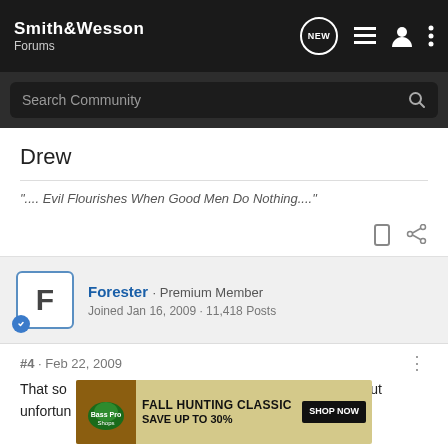Smith & Wesson Forums
Drew
".... Evil Flourishes When Good Men Do Nothing...."
Forester · Premium Member
Joined Jan 16, 2009 · 11,418 Posts
#4 · Feb 22, 2009
[Figure (screenshot): Bass Pro Shops Fall Hunting Classic ad: Save up to 30% - Shop Now]
That so... but unfortun... osting